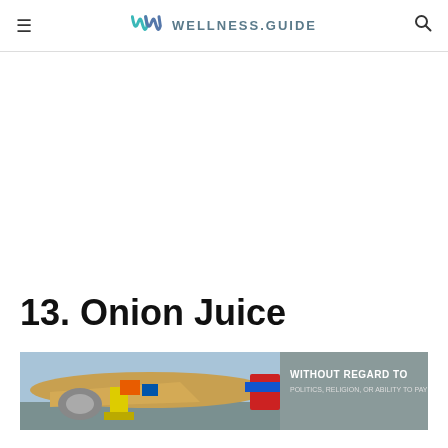WELLNESS.GUIDE
13. Onion Juice
[Figure (photo): Advertisement banner showing a cargo airplane being loaded with freight, with overlay text 'WITHOUT REGARD TO POLITICS, RELIGION, OR ABILITY TO PAY']